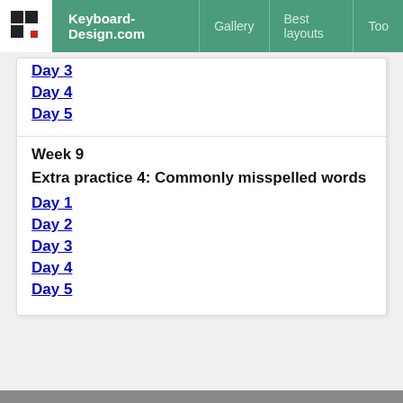Keyboard-Design.com | Gallery | Best layouts | Too
Day 3
Day 4
Day 5
Week 9
Extra practice 4: Commonly misspelled words
Day 1
Day 2
Day 3
Day 4
Day 5